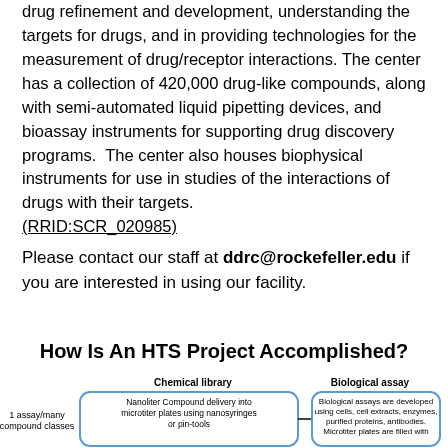drug refinement and development, understanding the targets for drugs, and in providing technologies for the measurement of drug/receptor interactions. The center has a collection of 420,000 drug-like compounds, along with semi-automated liquid pipetting devices, and bioassay instruments for supporting drug discovery programs. The center also houses biophysical instruments for use in studies of the interactions of drugs with their targets. (RRID:SCR_020985)
Please contact our staff at ddrc@rockefeller.edu if you are interested in using our facility.
How Is An HTS Project Accomplished?
[Figure (flowchart): Diagram showing HTS project flow with two boxes: Chemical library (Nanoliter Compound delivery into microtiter plates using nanosyringes or pin-tools) and Biological assay (Biological assays are developed using cells, cell extracts, enzymes, purified proteins, antibodies. Microtiter plates are filled with...). Left side label: 1 assay/many compound classes.]